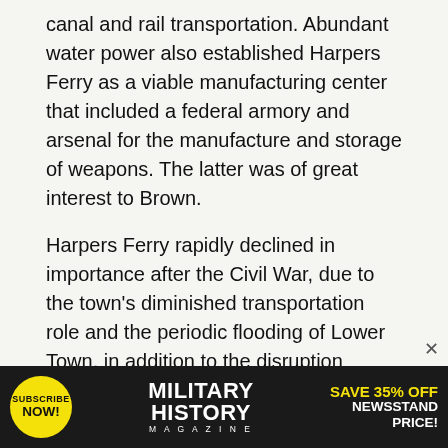canal and rail transportation. Abundant water power also established Harpers Ferry as a viable manufacturing center that included a federal armory and arsenal for the manufacture and storage of weapons. The latter was of great interest to Brown.
Harpers Ferry rapidly declined in importance after the Civil War, due to the town's diminished transportation role and the periodic flooding of Lower Town, in addition to the disruption resulting from four years of war. But the misfortunes that beset the town in the late 1800s were reversed a century later with the establishment of one of America's most important national historical parks Though the historic exhibits now on display in
[Figure (infographic): Advertisement banner for Military History Magazine: yellow 'Subscribe Now!' circle on left, 'Military History Magazine' in bold white text in center, 'Save 35% Off Newsstand Price!' in yellow and white text on right, all on dark background.]